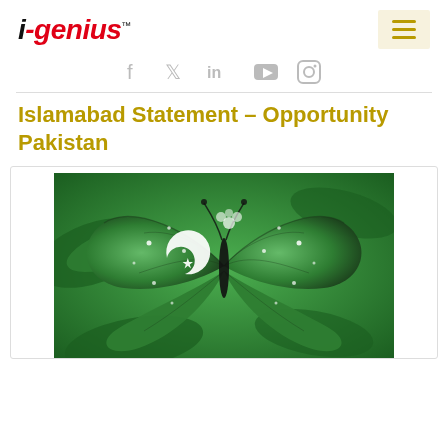i-genius™ [logo] [hamburger menu]
f  𝕏  in  ▶  Ⓘ  (social icons)
Islamabad Statement – Opportunity Pakistan
[Figure (photo): A green butterfly with the Pakistan flag (crescent and star) pattern on its wings, resting on green leaves.]